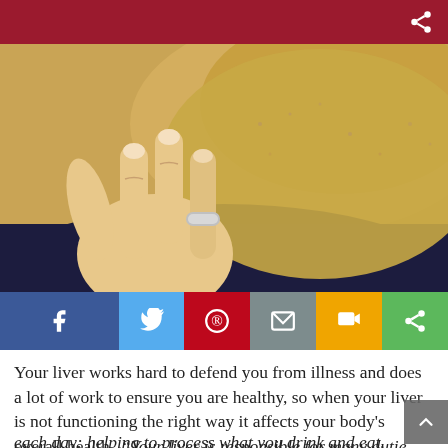[Figure (photo): Close-up photo of a person's hand with a silver ring pressing or touching a yellowish-discolored arm or leg, suggesting jaundice skin coloration, resting on dark fabric.]
[Figure (infographic): Social media share buttons row: Facebook (blue), Twitter (light blue), Pinterest (red), Email (grey), SMS (yellow/orange), Share (green)]
Your liver works hard to defend you from illness and does a lot of work to ensure you are healthy, so when your liver is not functioning the right way it affects your body's overall health. “Your liver is responsible for many duties each day: helping to process what you drink and eat,